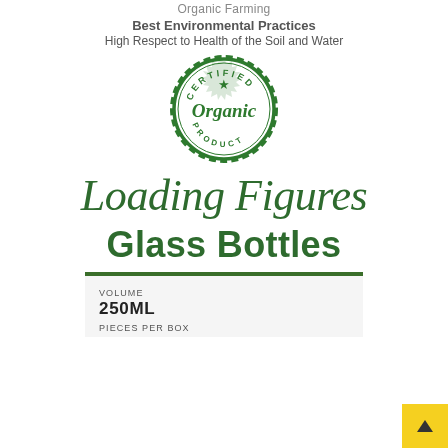Organic Farming
Best Environmental Practices
High Respect to Health of the Soil and Water
[Figure (logo): Certified Organic Product circular badge/stamp in green]
Loading Figures
Glass Bottles
| VOLUME | 250ML |
| PIECES PER BOX |  |